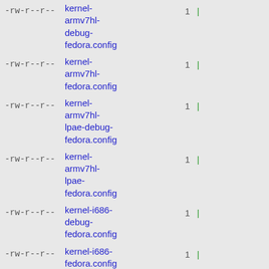-rw-r--r-- kernel-armv7hl-debug-fedora.config 1 |
-rw-r--r-- kernel-armv7hl-fedora.config 1 |
-rw-r--r-- kernel-armv7hl-lpae-debug-fedora.config 1 |
-rw-r--r-- kernel-armv7hl-lpae-fedora.config 1 |
-rw-r--r-- kernel-i686-debug-fedora.config 1 |
-rw-r--r-- kernel-i686-fedora.config 1 |
-rw-r--r-- kernel-ppc64le-